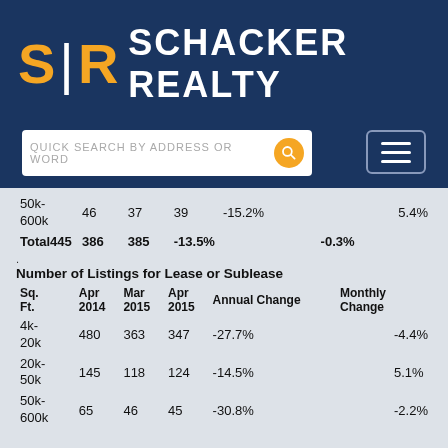[Figure (logo): Schacker Realty logo with S|R monogram in orange on dark navy background, with text SCHACKER REALTY in white]
| Sq. Ft. | Apr 2014 | Mar 2015 | Apr 2015 | Annual Change | Monthly Change |
| --- | --- | --- | --- | --- | --- |
| 50k-600k | 46 | 37 | 39 | -15.2% | 5.4% |
| Total | 445 | 386 | 385 | -13.5% | -0.3% |
Number of Listings for Lease or Sublease
| Sq. Ft. | Apr 2014 | Mar 2015 | Apr 2015 | Annual Change | Monthly Change |
| --- | --- | --- | --- | --- | --- |
| 4k-20k | 480 | 363 | 347 | -27.7% | -4.4% |
| 20k-50k | 145 | 118 | 124 | -14.5% | 5.1% |
| 50k-600k | 65 | 46 | 45 | -30.8% | -2.2% |